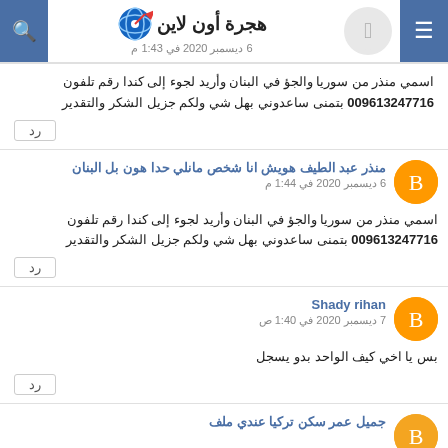هجرة أون لاين - 6 ديسمبر 2020 في 1:43 م
اسمي منذر من سوريا والجؤ في البنان وأريد لجوء إلى كندا رقم تلفون 009613247716 بتمنى ساعدوني بهل شي ولكم جزيل الشكر والتقدير
رد
منذر عبد الطيف هويش انا شخص مانلي حدا هون بل البنان
6 ديسمبر 2020 في 1:44 م
اسمي منذر من سوريا والجؤ في البنان وأريد لجوء إلى كندا رقم تلفون 009613247716 بتمنى ساعدوني بهل شي ولكم جزيل الشكر والتقدير
رد
Shady rihan
7 ديسمبر 2020 في 1:40 ص
بس يا اخي كيف الواحد بدو يسجل
رد
جميل عمر سكن تركيا عندي ملف